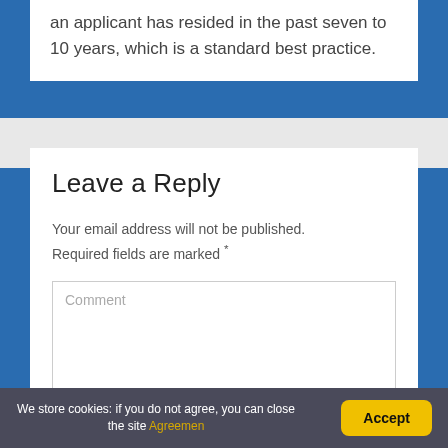an applicant has resided in the past seven to 10 years, which is a standard best practice.
Leave a Reply
Your email address will not be published. Required fields are marked *
Comment
We store cookies: if you do not agree, you can close the site Agreemen